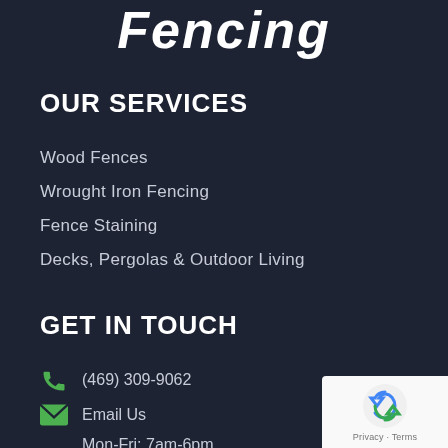Fencing
OUR SERVICES
Wood Fences
Wrought Iron Fencing
Fence Staining
Decks, Pergolas & Outdoor Living
GET IN TOUCH
(469) 309-9062
Email Us
Mon-Fri: 7am-6pm
Sat: 8am-2pm
[Figure (logo): reCAPTCHA badge with Privacy and Terms links]